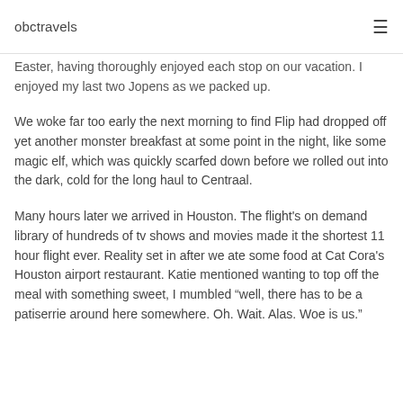obctravels
Easter, having thoroughly enjoyed each stop on our vacation. I enjoyed my last two Jopens as we packed up.
We woke far too early the next morning to find Flip had dropped off yet another monster breakfast at some point in the night, like some magic elf, which was quickly scarfed down before we rolled out into the dark, cold for the long haul to Centraal.
Many hours later we arrived in Houston. The flight's on demand library of hundreds of tv shows and movies made it the shortest 11 hour flight ever. Reality set in after we ate some food at Cat Cora's Houston airport restaurant. Katie mentioned wanting to top off the meal with something sweet, I mumbled “well, there has to be a patiserrie around here somewhere. Oh. Wait. Alas. Woe is us.”